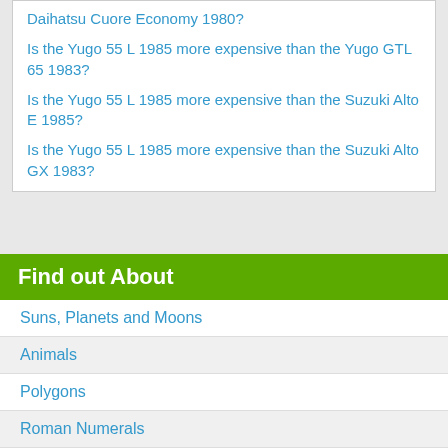Daihatsu Cuore Economy 1980?
Is the Yugo 55 L 1985 more expensive than the Yugo GTL 65 1983?
Is the Yugo 55 L 1985 more expensive than the Suzuki Alto E 1985?
Is the Yugo 55 L 1985 more expensive than the Suzuki Alto GX 1983?
Find out About
Suns, Planets and Moons
Animals
Polygons
Roman Numerals
Architecture
Geography
United States of America
Cars